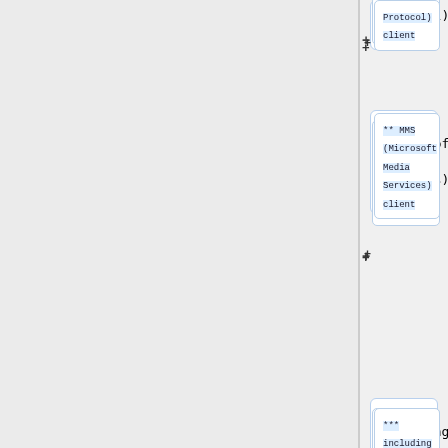Protocol) client
** MMS (Microsoft Media Services) client
*** including the subprotocol mmsh (MMS over HTTP) and mmst (MMS over TCP)
==== A/V filter API